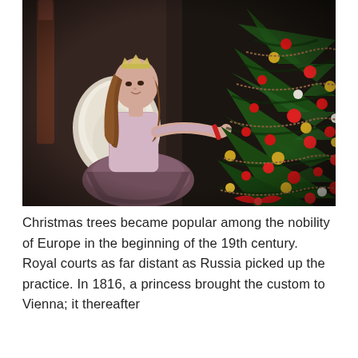[Figure (photo): A young girl wearing a crown and a pink lace top with a mauve tutu skirt reaching toward a decorated Christmas tree hung with red, gold, and silver ornaments and bead garlands. She is seated near an ornate white chair in a darkened room.]
Christmas trees became popular among the nobility of Europe in the beginning of the 19th century. Royal courts as far distant as Russia picked up the practice. In 1816, a princess brought the custom to Vienna; it thereafter